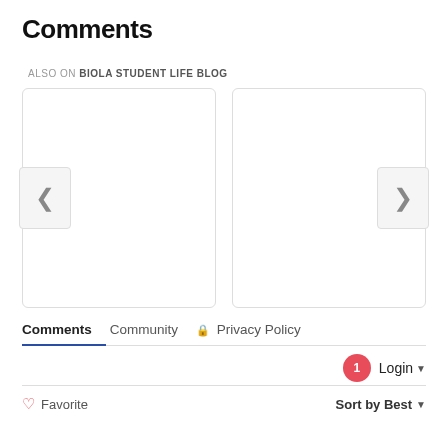Comments
ALSO ON BIOLA STUDENT LIFE BLOG
[Figure (screenshot): A two-panel carousel widget with left and right navigation arrows on a white background with rounded border cards]
Comments  Community  Privacy Policy
1  Login
Favorite  Sort by Best